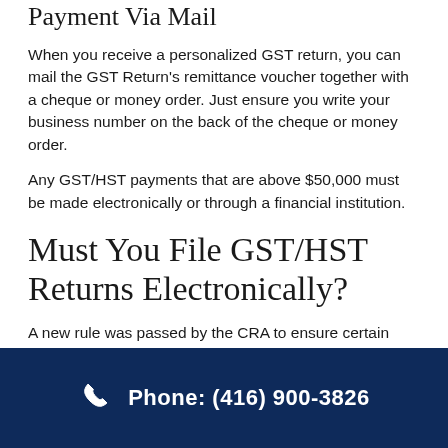Payment Via Mail
When you receive a personalized GST return, you can mail the GST Return's remittance voucher together with a cheque or money order. Just ensure you write your business number on the back of the cheque or money order.
Any GST/HST payments that are above $50,000 must be made electronically or through a financial institution.
Must You File GST/HST Returns Electronically?
A new rule was passed by the CRA to ensure certain kinds of businesses must file their GST/HST electronically. For instance, if your business has more than $1.5 million in
Phone: (416) 900-3826